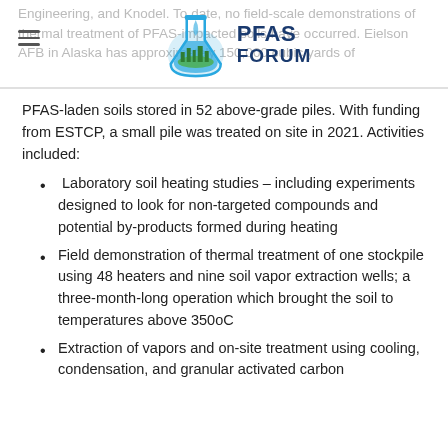Engineering, and Knodel. To date, no field-scale demonstrations of thermal treatment of PFAS-impacted soils have occurred. Eielson AFB in Alaska has approximately 150,000 cubic yards of
[Figure (logo): PFAS Forum logo — a stylized flask/droplet with green city skyline inside, blue water drop shape, with 'PFAS FORUM' text in dark blue bold font beside it]
PFAS-laden soils stored in 52 above-grade piles. With funding from ESTCP, a small pile was treated on site in 2021. Activities included:
Laboratory soil heating studies – including experiments designed to look for non-targeted compounds and potential by-products formed during heating
Field demonstration of thermal treatment of one stockpile using 48 heaters and nine soil vapor extraction wells; a three-month-long operation which brought the soil to temperatures above 350oC
Extraction of vapors and on-site treatment using cooling, condensation, and granular activated carbon